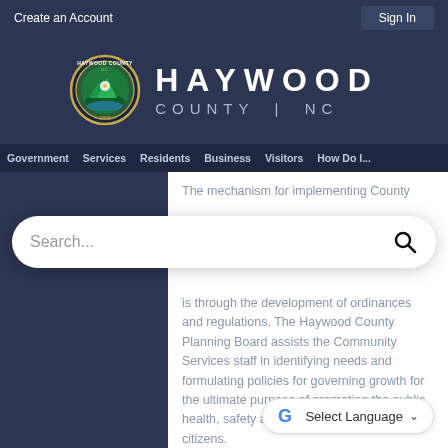Create an Account    Sign In
[Figure (logo): Haywood County NC seal and wordmark logo on dark blue background]
[Figure (screenshot): Search bar with placeholder text 'Search...' and search icon]
Government  Services  Residents  Business  Visitors  How Do I...
The mechanism for implementing County is through the development of ordinances and regulations. The Haywood County Planning Board assists the Community Services staff in identifying needs and formulating policies for governing growth for the ultimate purpose of promoting the public health, safety and general welfare of its citizens.
Land Disturbing Activities
[Figure (other): Google Translate 'Select Language' widget]